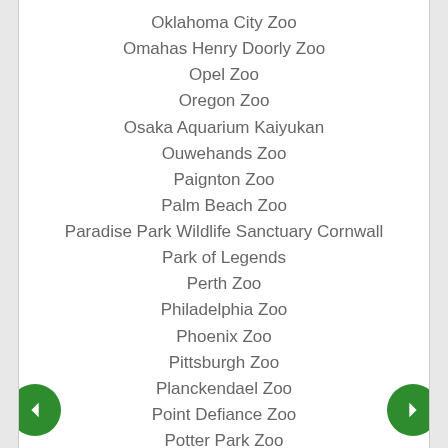Oklahoma City Zoo
Omahas Henry Doorly Zoo
Opel Zoo
Oregon Zoo
Osaka Aquarium Kaiyukan
Ouwehands Zoo
Paignton Zoo
Palm Beach Zoo
Paradise Park Wildlife Sanctuary Cornwall
Park of Legends
Perth Zoo
Philadelphia Zoo
Phoenix Zoo
Pittsburgh Zoo
Planckendael Zoo
Point Defiance Zoo
Potter Park Zoo
Prague Zoo
Prospect Park Zoo